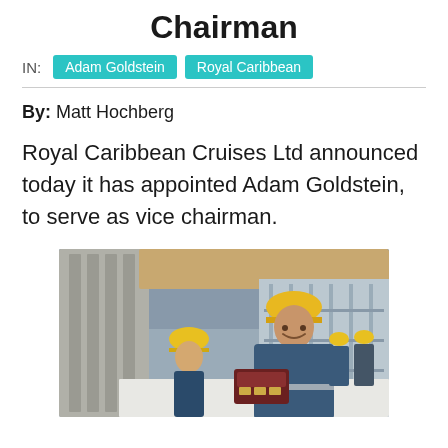Chairman
IN: Adam Goldstein   Royal Caribbean
By: Matt Hochberg
Royal Caribbean Cruises Ltd announced today it has appointed Adam Goldstein, to serve as vice chairman.
[Figure (photo): Workers in yellow hard hats and blue coveralls at an industrial/shipyard facility. One worker in the foreground is smiling and holding an open case, another is visible in the background.]